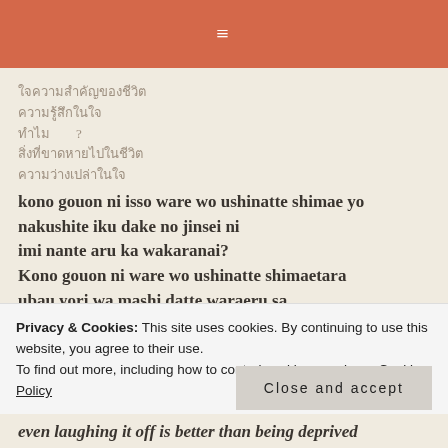☰
ใจความสำคัญของชีวิต
ความรู้สึกในใจ
ทำไม          ?
สิ่งที่ขาดหายไปในชีวิต
ความว่างเปล่าในใจ
kono gouon ni isso ware wo ushinatte shimae yo
nakushite iku dake no jinsei ni
imi nante aru ka wakaranai?
Kono gouon ni ware wo ushinatte shimaetara
ubau yori wa mashi datte waraeru sa
Privacy & Cookies: This site uses cookies. By continuing to use this website, you agree to their use.
To find out more, including how to control cookies, see here: Cookie Policy
Close and accept
even laughing it off is better than being deprived